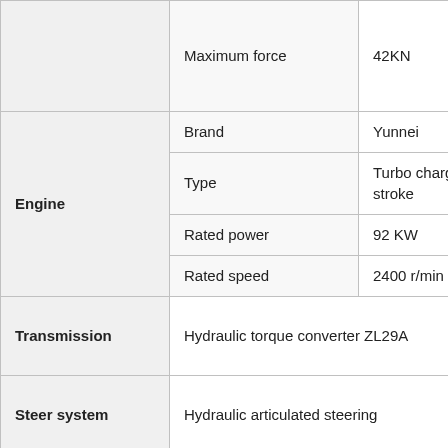|  | Maximum force | 42KN |
| Engine | Brand | Yunnei |
| Engine | Type | Turbo charged, 4-stroke |
| Engine | Rated power | 92 KW |
| Engine | Rated speed | 2400 r/min |
| Transmission | Hydraulic torque converter ZL29A |  |
| Steer system | Hydraulic articulated steering |  |
|  |  |  |